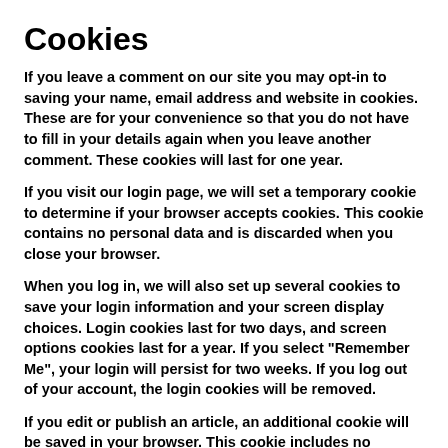Cookies
If you leave a comment on our site you may opt-in to saving your name, email address and website in cookies. These are for your convenience so that you do not have to fill in your details again when you leave another comment. These cookies will last for one year.
If you visit our login page, we will set a temporary cookie to determine if your browser accepts cookies. This cookie contains no personal data and is discarded when you close your browser.
When you log in, we will also set up several cookies to save your login information and your screen display choices. Login cookies last for two days, and screen options cookies last for a year. If you select "Remember Me", your login will persist for two weeks. If you log out of your account, the login cookies will be removed.
If you edit or publish an article, an additional cookie will be saved in your browser. This cookie includes no personal data and simply indicates the post ID of the article you just edited. It expires after 1 day.
Embedded content from other